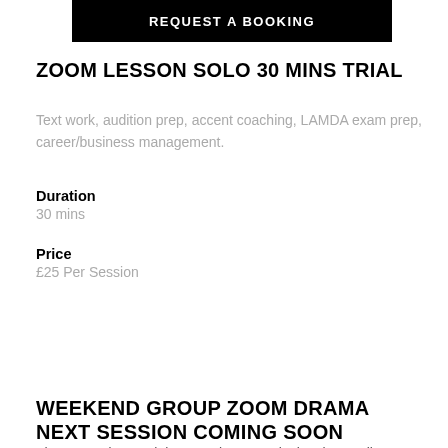[Figure (other): Black button with white uppercase text 'REQUEST A BOOKING' (partially visible at top)]
ZOOM LESSON SOLO 30 MINS TRIAL
Text work, audition prep, accent coaching, LAMDA exam prep, career/business management.
Duration
30 mins
Price
£25 Per Session
[Figure (other): Black button with white uppercase text 'REQUEST A BOOKING']
WEEKEND GROUP ZOOM DRAMA NEXT SESSION COMING SOON
The group drama club, spanning 9 weeks involves online